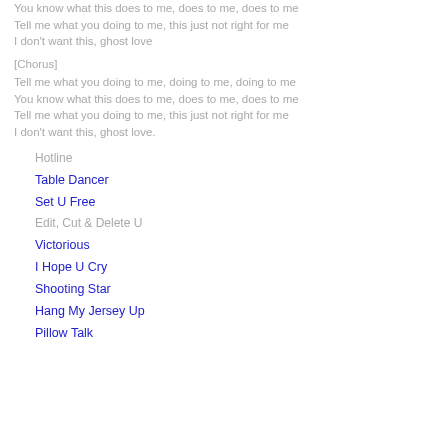You know what this does to me, does to me, does to me
Tell me what you doing to me, this just not right for me
I don't want this, ghost love
[Chorus]
Tell me what you doing to me, doing to me, doing to me
You know what this does to me, does to me, does to me
Tell me what you doing to me, this just not right for me
I don't want this, ghost love.
Hotline
Table Dancer
Set U Free
Edit, Cut & Delete U
Victorious
I Hope U Cry
Shooting Star
Hang My Jersey Up
Pillow Talk